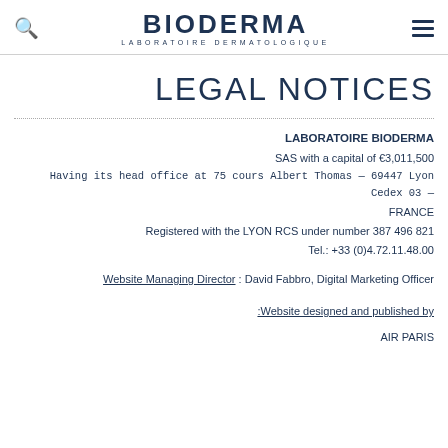BIODERMA LABORATOIRE DERMATOLOGIQUE
LEGAL NOTICES
LABORATOIRE BIODERMA
SAS with a capital of €3,011,500
Having its head office at 75 cours Albert Thomas — 69447 Lyon Cedex 03 — FRANCE
Registered with the LYON RCS under number 387 496 821
Tel.: +33 (0)4.72.11.48.00
Website Managing Director : David Fabbro, Digital Marketing Officer
:Website designed and published by
AIR PARIS